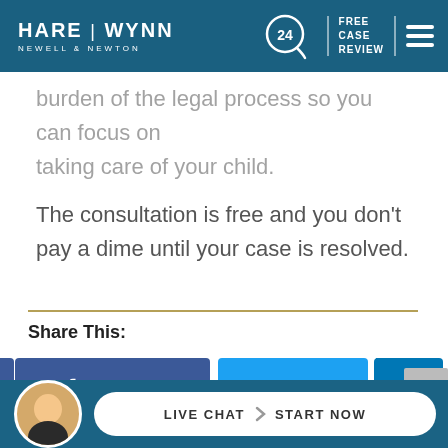HARE | WYNN NEWELL & NEWTON — FREE CASE REVIEW
burden of the legal process so you can focus on taking care of your child.
The consultation is free and you don't pay a dime until your case is resolved.
Share This:
[Figure (screenshot): Social sharing buttons: Facebook, Twitter, LinkedIn]
[Figure (screenshot): Live Chat Start Now bar with agent avatar]